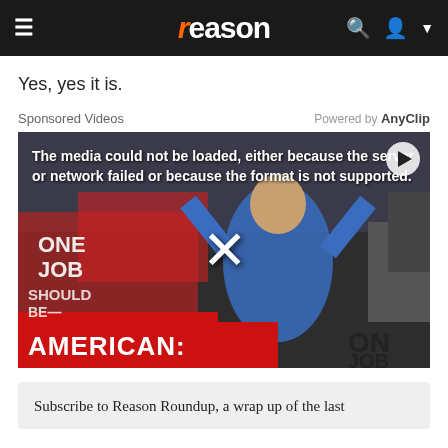reason
Yes, yes it is.
Sponsored Videos    Powered by AnyClip
[Figure (screenshot): Video player showing error message 'The media could not be loaded, either because the server or network failed or because the format is not supported.' overlaid on an image of a political rally with protest signs reading ONE JOB, AMERICAN, WE FEED THE WORLD, etc., with a woman in blue speaking at a podium. A close (X) button is visible in the center.]
Subscribe to Reason Roundup, a wrap up of the last